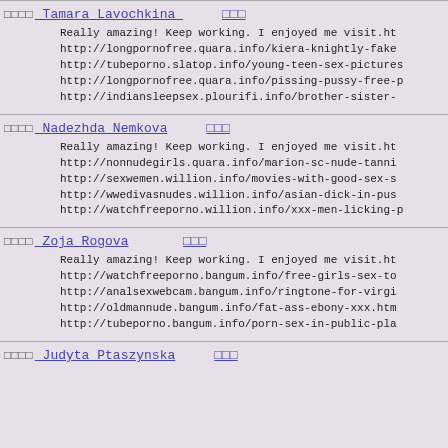□□□□ Tamara Lavochkina   □□□
Really amazing! Keep working. I enjoyed me visit.ht
http://longpornofree.quara.info/kiera-knightly-fake
http://tubeporno.slatop.info/young-teen-sex-pictures
http://longpornofree.quara.info/pissing-pussy-free-p
http://indiansleepsex.plourifi.info/brother-sister-
□□□□ Nadezhda Nemkova   □□□
Really amazing! Keep working. I enjoyed me visit.ht
http://nonnudegirls.quara.info/marion-sc-nude-tanni
http://sexwemen.willion.info/movies-with-good-sex-s
http://wwedivasnudes.willion.info/asian-dick-in-pus
http://watchfreeporno.willion.info/xxx-men-licking-p
□□□□ Zoja Rogova   □□□
Really amazing! Keep working. I enjoyed me visit.ht
http://watchfreeporno.bangum.info/free-girls-sex-to
http://analsexwebcam.bangum.info/ringtone-for-virgi
http://oldmannude.bangum.info/fat-ass-ebony-xxx.htm
http://tubeporno.bangum.info/porn-sex-in-public-pla
□□□□ Judyta Ptaszynska   □□□